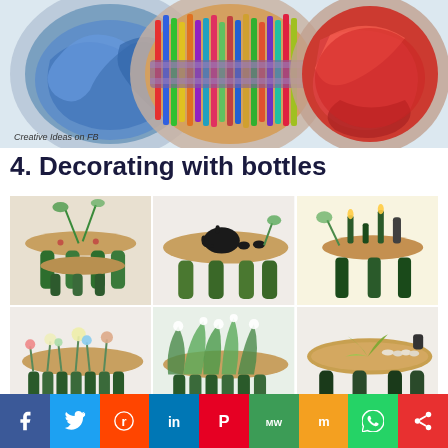[Figure (photo): Three large plastic bottles filled with colorful items: blue stuffed material on left, colorful pencils/crayons in middle, red items on right, on white background]
Creative Ideas on FB
4. Decorating with bottles
[Figure (photo): Six photos of tables made from wine bottles as legs with wooden plank tops, styled with plants, teapots, candles and decorative items]
Creative Ideas on FB
f  twitter  reddit  in  pinterest  MW  mix  whatsapp  share